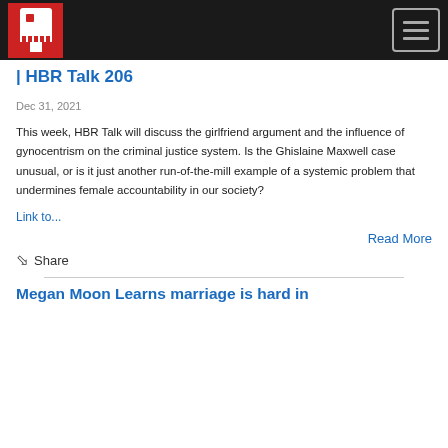HBR Talk 206 - navigation bar with logo and hamburger menu
| HBR Talk 206
Dec 31, 2021
This week, HBR Talk will discuss the girlfriend argument and the influence of gynocentrism on the criminal justice system. Is the Ghislaine Maxwell case unusual, or is it just another run-of-the-mill example of a systemic problem that undermines female accountability in our society?
Link to...
Read More
Share
Megan Moon Learns marriage is hard in